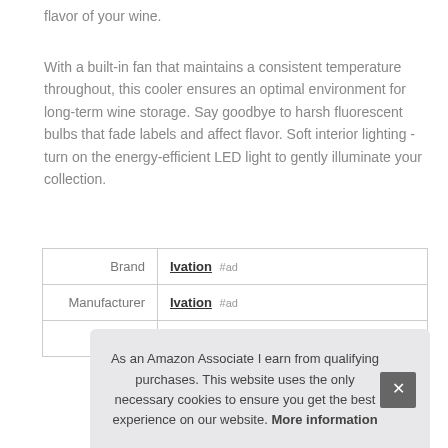flavor of your wine.
With a built-in fan that maintains a consistent temperature throughout, this cooler ensures an optimal environment for long-term wine storage. Say goodbye to harsh fluorescent bulbs that fade labels and affect flavor. Soft interior lighting - turn on the energy-efficient LED light to gently illuminate your collection.
|  |  |
| --- | --- |
| Brand | Ivation #ad |
| Manufacturer | Ivation #ad |
| Height | 31.18 Inches |
As an Amazon Associate I earn from qualifying purchases. This website uses the only necessary cookies to ensure you get the best experience on our website. More information